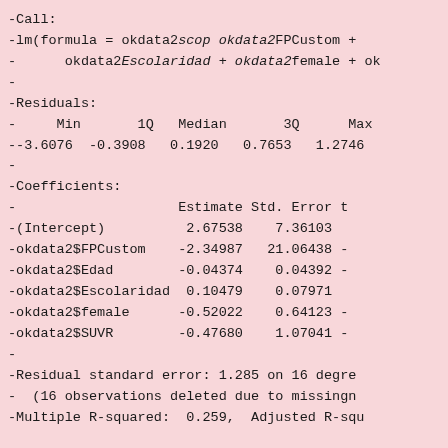-Call:
-lm(formula = okdata2$scop okdata2$FPCustom +
-      okdata2$Escolaridad + okdata2$female + ok
-
-Residuals:
-     Min       1Q   Median       3Q      Max
--3.6076  -0.3908   0.1920   0.7653   1.2746
-
-Coefficients:
-                    Estimate Std. Error t
-(Intercept)          2.67538    7.36103
-okdata2$FPCustom    -2.34987   21.06438 -
-okdata2$Edad        -0.04374    0.04392 -
-okdata2$Escolaridad  0.10479    0.07971
-okdata2$female      -0.52022    0.64123 -
-okdata2$SUVR        -0.47680    1.07041 -
-
-Residual standard error: 1.285 on 16 degre
-  (16 observations deleted due to missingn
-Multiple R-squared:  0.259,  Adjusted R-squ